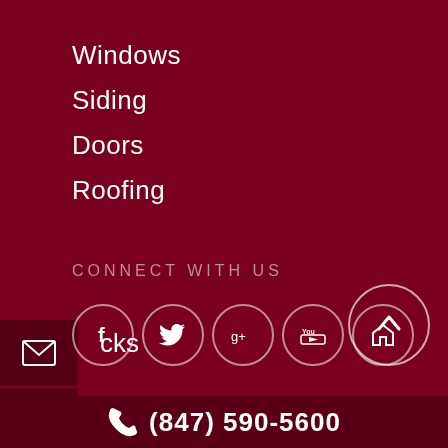Windows
Siding
Doors
Roofing
Decks
Gutters
CONNECT WITH US
[Figure (infographic): Social media icon circles for Facebook, Twitter, Google+, YouTube, and another platform]
[Figure (infographic): Back to top arrow button circle]
(847) 590-5600